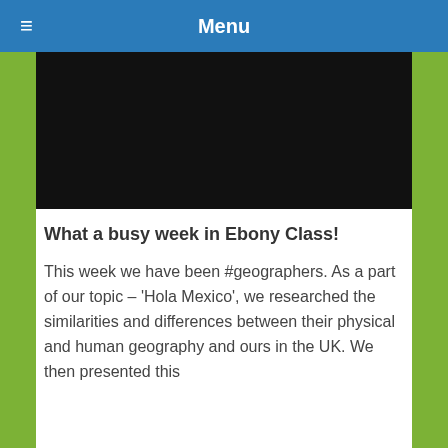Menu
[Figure (photo): A black rectangle representing a video or image placeholder]
What a busy week in Ebony Class!
This week we have been #geographers. As a part of our topic – 'Hola Mexico', we researched the similarities and differences between their physical and human geography and ours in the UK. We then presented this